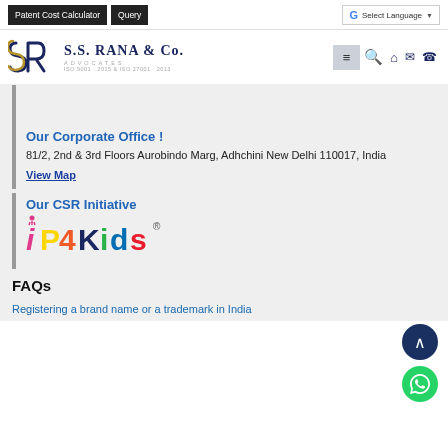Patent Cost Calculator | Query | G Select Language
[Figure (logo): S.S. Rana & Co. Advocates logo with SR monogram in blue and gold]
Our Corporate Office !
81/2, 2nd & 3rd Floors Aurobindo Marg, Adhchini New Delhi 110017, India
View Map
Our CSR Initiative
[Figure (logo): iP4Kids colorful logo]
FAQs
Registering a brand name or a trademark in India